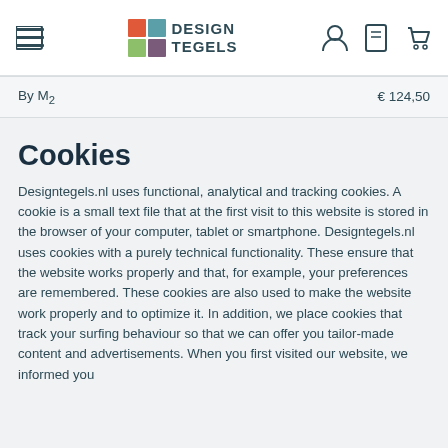Design Tegels — navigation header with menu, logo, user, wishlist, and cart icons
By M2   € 124,50
Cookies
Designtegels.nl uses functional, analytical and tracking cookies. A cookie is a small text file that at the first visit to this website is stored in the browser of your computer, tablet or smartphone. Designtegels.nl uses cookies with a purely technical functionality. These ensure that the website works properly and that, for example, your preferences are remembered. These cookies are also used to make the website work properly and to optimize it. In addition, we place cookies that track your surfing behaviour so that we can offer you tailor-made content and advertisements. When you first visited our website, we informed you